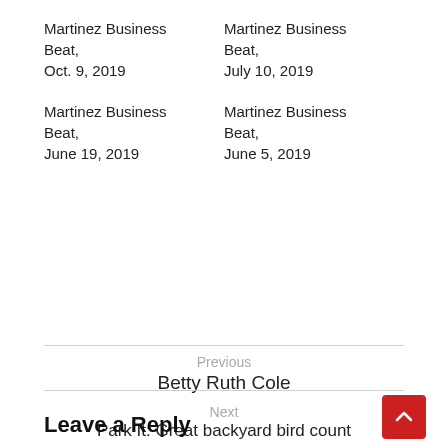Martinez Business Beat, Oct. 9, 2019
Martinez Business Beat, July 10, 2019
Martinez Business Beat, June 19, 2019
Martinez Business Beat, June 5, 2019
Previous
Betty Ruth Cole
Next
Park It: Great backyard bird count
Leave a Reply